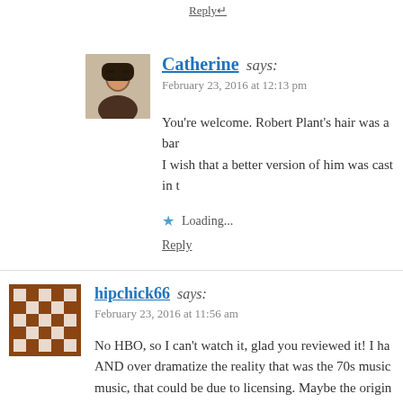Reply
Catherine says:
February 23, 2016 at 12:13 pm

You're welcome. Robert Plant's hair was a bar... I wish that a better version of him was cast in t...
Loading...
Reply
hipchick66 says:
February 23, 2016 at 11:56 am

No HBO, so I can't watch it, glad you reviewed it! I ha... AND over dramatize the reality that was the 70s music... music, that could be due to licensing. Maybe the origin... to be involved with this.